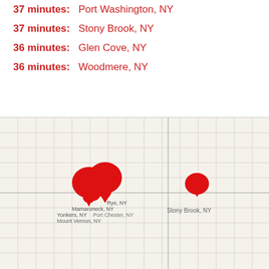37 minutes:   Port Washington, NY
37 minutes:   Stony Brook, NY
36 minutes:   Glen Cove, NY
36 minutes:   Woodmere, NY
[Figure (map): Grid-style map with red location pin markers. Cluster of overlapping pins (Rye NY, Mamaroneck NY, Yonkers NY, Mount Vernon NY) on the left side, and a single pin for Stony Brook NY on the right side. Map has a light beige background with gray grid lines.]